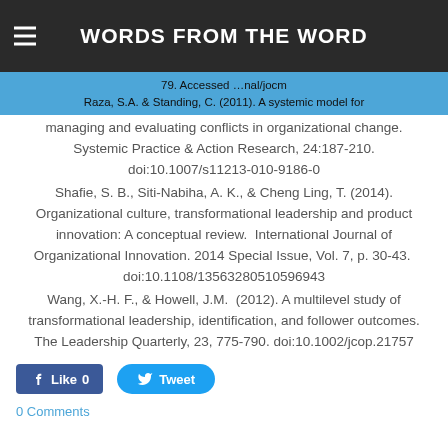WORDS FROM THE WORD
79. Accessed …nal/jocm Raza, S.A. & Standing, C. (2011). A systemic model for managing and evaluating conflicts in organizational change. Systemic Practice & Action Research, 24:187-210. doi:10.1007/s11213-010-9186-0
Shafie, S. B., Siti-Nabiha, A. K., & Cheng Ling, T. (2014). Organizational culture, transformational leadership and product innovation: A conceptual review. International Journal of Organizational Innovation. 2014 Special Issue, Vol. 7, p. 30-43. doi:10.1108/13563280510596943
Wang, X.-H. F., & Howell, J.M. (2012). A multilevel study of transformational leadership, identification, and follower outcomes. The Leadership Quarterly, 23, 775-790. doi:10.1002/jcop.21757
0 Comments